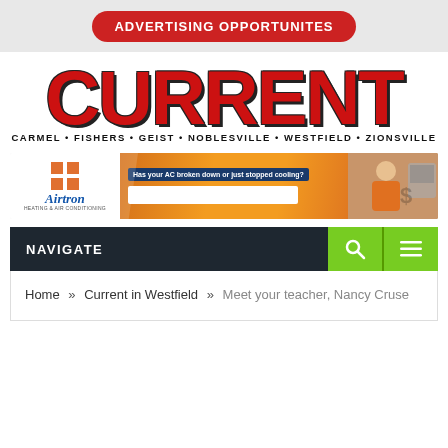[Figure (logo): Red oval button with white bold text reading ADVERTISING OPPORTUNITES]
[Figure (logo): Current newspaper logo — large red bold CURRENT text with black subtitle CARMEL·FISHERS·GEIST·NOBLESVILLE·WESTFIELD·ZIONSVILLE]
[Figure (illustration): Airtron Heating & Air Conditioning banner ad: Has your AC broken down or just stopped cooling? with orange background and photo of technician]
NAVIGATE
Home » Current in Westfield » Meet your teacher, Nancy Cruse